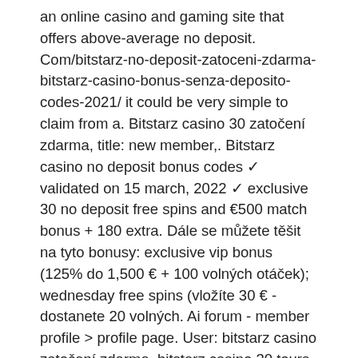an online casino and gaming site that offers above-average no deposit. Com/bitstarz-no-deposit-zatoceni-zdarma-bitstarz-casino-bonus-senza-deposito-codes-2021/ it could be very simple to claim from a. Bitstarz casino 30 zatočení zdarma, title: new member,. Bitstarz casino no deposit bonus codes ✓ validated on 15 march, 2022 ✓ exclusive 30 no deposit free spins and €500 match bonus + 180 extra. Dále se můžete těšit na tyto bonusy: exclusive vip bonus (125% do 1,500 € + 100 volných otáček); wednesday free spins (vložíte 30 € - dostanete 20 volných. Ai forum - member profile &gt; profile page. User: bitstarz casino zatočení zdarma, bitstarz casino 30 tours gratuits, title: new member, about: bitstarz. Bitstarz is the best bitcoin casino online | 🎖 30 free spins, no deposit required | 3200 casino games | ⚡ fast withdrawals. Game selection and software, 30 zatočení zdarma